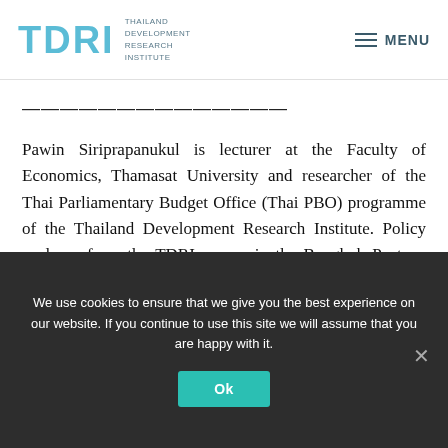TDRI — Thailand Development Research Institute | MENU
——————————————
Pawin Siriprapanukul is lecturer at the Faculty of Economics, Thamasat University and researcher of the Thai Parliamentary Budget Office (Thai PBO) programme of the Thailand Development Research Institute. Policy analyses from the TDRI appear in the Bangkok Post on alternate…
We use cookies to ensure that we give you the best experience on our website. If you continue to use this site we will assume that you are happy with it.